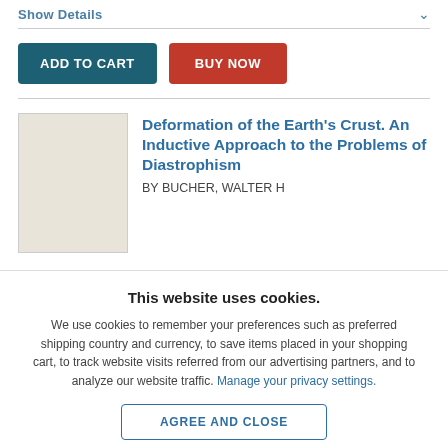Show Details
ADD TO CART
BUY NOW
Deformation of the Earth's Crust. An Inductive Approach to the Problems of Diastrophism
BY BUCHER, WALTER H
This website uses cookies.
We use cookies to remember your preferences such as preferred shipping country and currency, to save items placed in your shopping cart, to track website visits referred from our advertising partners, and to analyze our website traffic. Manage your privacy settings.
AGREE AND CLOSE